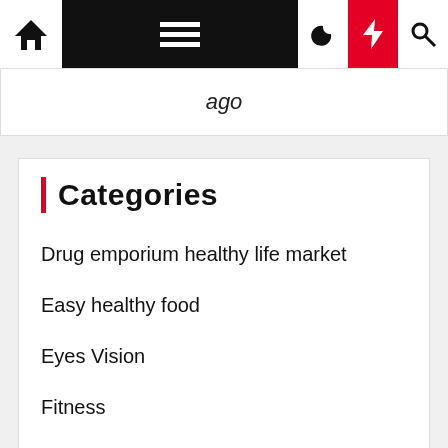Navigation bar with home, menu, moon, bolt, search icons
ago
Categories
Drug emporium healthy life market
Easy healthy food
Eyes Vision
Fitness
General
Healthy food around me